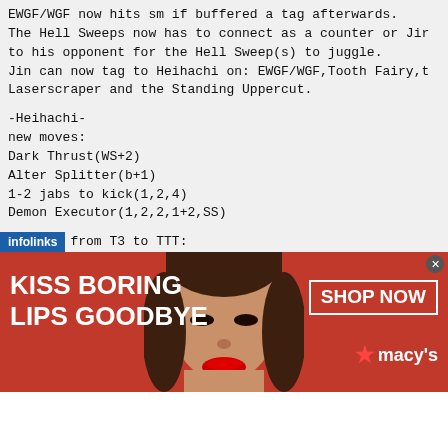EWGF/WGF now hits sm if buffered a tag afterwards.
The Hell Sweeps now has to connect as a counter or Jin
to his opponent for the Hell Sweep(s) to juggle.
Jin can now tag to Heihachi on: EWGF/WGF,Tooth Fairy,t
Laserscraper and the Standing Uppercut.
-Heihachi-
new moves:
Dark Thrust(WS+2)
Alter Splitter(b+1)
1-2 jabs to kick(1,2,4)
Demon Executor(1,2,2,1+2,SS)
Changes from T3 to TTT:
The EWGF/WGF now hits special mid instead of mid, and
The Hell Sweeps can now be blocked low anytime during
Heihachi to loose his stance
Heihachi's standing right kick now stuns on counterhit
-Introduction of Jin Kazama-
[Figure (infographic): Macy's advertisement banner: red background with woman's face, text 'KISS BORING LIPS GOODBYE' on left, 'SHOP NOW / macys' on right, infolinks tab at bottom left.]